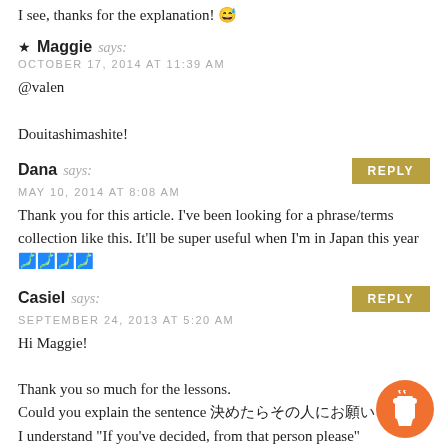I see, thanks for the explanation! 😅
★ Maggie says:
OCTOBER 17, 2014 AT 11:39 AM
@valen

Douitashimashite!
Dana says:
MAY 10, 2014 AT 8:08 AM
Thank you for this article. I've been looking for a phrase/terms collection like this. It'll be super useful when I'm in Japan this year 🗾🗾🗾🗾
Casiel says:
SEPTEMBER 24, 2013 AT 5:20 AM
Hi Maggie!

Thank you so much for the lessons.
Could you explain the sentence 決めたらその人にお願い？
I understand "If you've decided, from that person please"
Best regards from Spain.